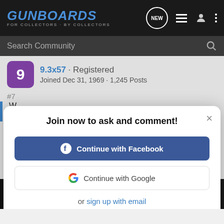GUNBOARDS - FOR COLLECTORS · BY COLLECTORS
Search Community
9.3x57 · Registered
Joined Dec 31, 1969 · 1,245 Posts
Join now to ask and comment!
Continue with Facebook
Continue with Google
or sign up with email
consideration for lefty's! Old HVA stocks are Right Hand
Prejudu
[Figure (screenshot): Springfield Armory SAINT advertisement banner showing rifle and price $943.00 MSRP]